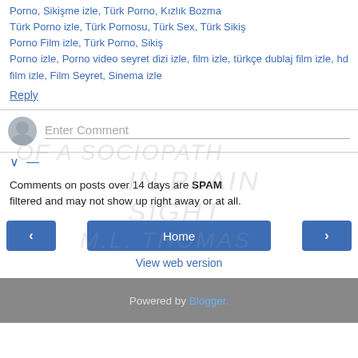Porno, Sikişme izle, Türk Porno, Kızlık Bozma Türk Porno izle, Türk Pornosu, Türk Sex, Türk Sikiş Porno Film izle, Türk Porno, Sikiş Porno izle, Porno video seyret dizi izle, film izle, türkçe dublaj film izle, hd film izle, Film Seyret, Sinema izle
Reply
Enter Comment
Comments on posts over 14 days are SPAM filtered and may not show up right away or at all.
Home
View web version
Powered by Blogger.